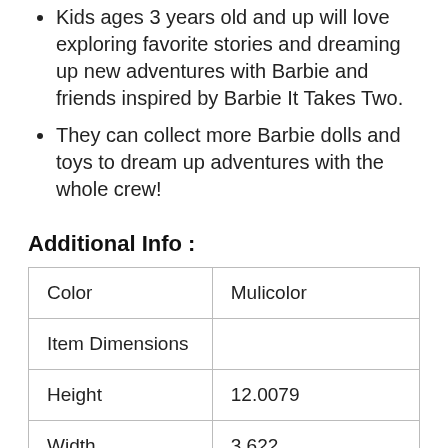Kids ages 3 years old and up will love exploring favorite stories and dreaming up new adventures with Barbie and friends inspired by Barbie It Takes Two.
They can collect more Barbie dolls and toys to dream up adventures with the whole crew!
Additional Info :
| Color | Mulicolor |
| Item Dimensions |  |
| Height | 12.0079 |
| Width | 3.622 |